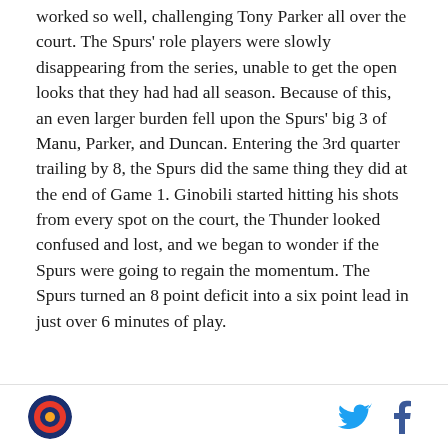worked so well, challenging Tony Parker all over the court. The Spurs' role players were slowly disappearing from the series, unable to get the open looks that they had had all season. Because of this, an even larger burden fell upon the Spurs' big 3 of Manu, Parker, and Duncan. Entering the 3rd quarter trailing by 8, the Spurs did the same thing they did at the end of Game 1. Ginobili started hitting his shots from every spot on the court, the Thunder looked confused and lost, and we began to wonder if the Spurs were going to regain the momentum. The Spurs turned an 8 point deficit into a six point lead in just over 6 minutes of play.
[Figure (other): Green advertisement banner with 'AD' label in top-left corner and 'SKINNYPOP' text in white letters]
SB Nation logo icon, Twitter icon, Facebook icon